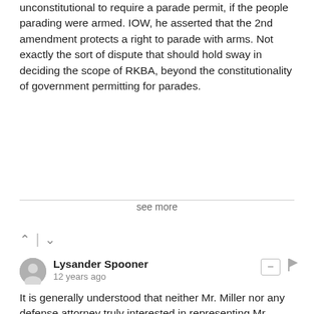unconstitutional to require a parade permit, if the people parading were armed. IOW, he asserted that the 2nd amendment protects a right to parade with arms. Not exactly the sort of dispute that should hold sway in deciding the scope of RKBA, beyond the constitutionality of government permitting for parades.
see more
Lysander Spooner · 12 years ago
It is generally understood that neither Mr. Miller nor any defense attorney truly interested in representing Mr. Miller's position was actually present during deliberations of U.S. v. Miller.
When one considers the definitions of "unalienable" and "infringed" were the same in 1939 as they were when the Bill of Rights was ratified, it must have come as quite a surprise to the government attorneys that SCOTUS did not summarily dismiss the case and laugh them right out of the courtroom. Only in fear of FDR's reprisals could such a flagrant violaltion of personal